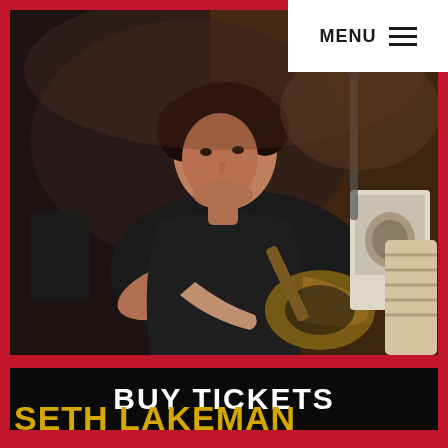MENU
[Figure (photo): A man with dark curly hair sits casually holding an acoustic guitar, wearing a dark t-shirt. He is in a dimly lit backstage or studio setting with musical equipment visible in the background.]
BUY TICKETS
SETH LAKEMAN